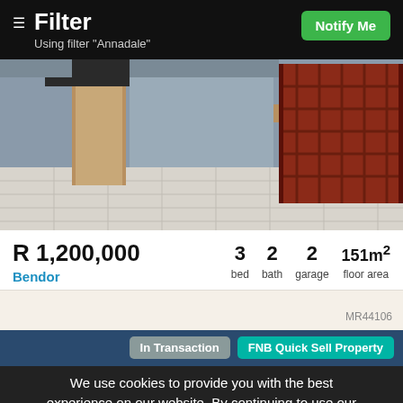Filter
Using filter "Annadale"
Notify Me
[Figure (photo): Interior hallway/entrance of a residential property showing tiled floor, a wooden column, grey walls, and red burglar-bar security gate/door on the right side.]
R 1,200,000
Bendor
3 bed  2 bath  2 garage  151m² floor area
MR44106
In Transaction   FNB Quick Sell Property
We use cookies to provide you with the best experience on our website. By continuing to use our
Get notified of new listings!